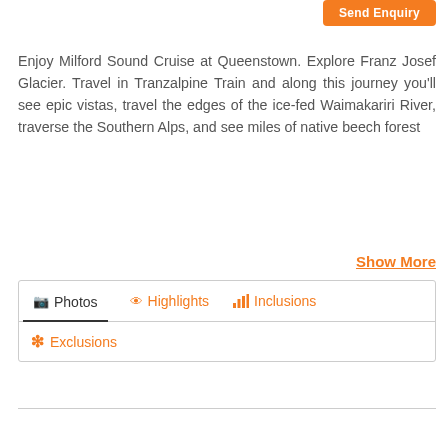Send Enquiry
Enjoy Milford Sound Cruise at Queenstown. Explore Franz Josef Glacier. Travel in Tranzalpine Train and along this journey you'll see epic vistas, travel the edges of the ice-fed Waimakariri River, traverse the Southern Alps, and see miles of native beech forest
Show More
📷 Photos  👁 Highlights  📊 Inclusions
✳ Exclusions